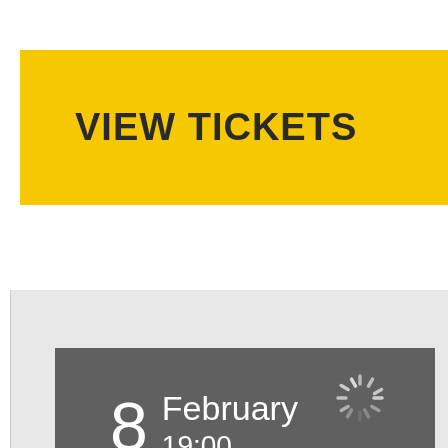VIEW TICKETS
8 February 19:00
[Figure (other): Loading spinner icon (circular dashed spinner graphic)]